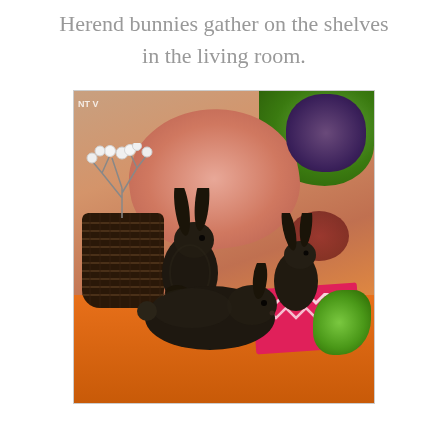Herend bunnies gather on the shelves in the living room.
[Figure (photo): Three dark bronze/cast iron Herend bunny figurines arranged on an orange surface, with a wicker basket containing white berry branches on the left, a pink decorative plate, colorful green cabbage plates, and a pink cloth in the background.]